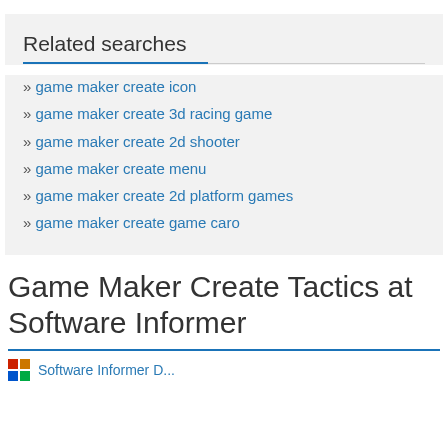Related searches
game maker create icon
game maker create 3d racing game
game maker create 2d shooter
game maker create menu
game maker create 2d platform games
game maker create game caro
Game Maker Create Tactics at Software Informer